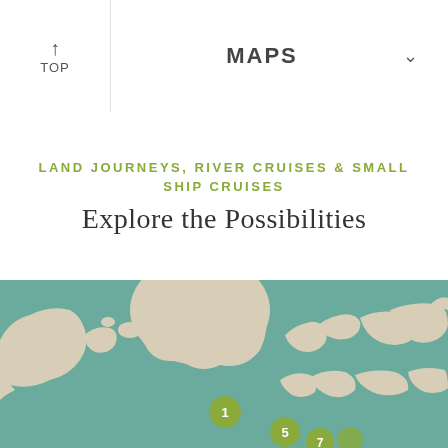TOP | MAPS
LAND JOURNEYS, RIVER CRUISES & SMALL SHIP CRUISES
Explore the Possibilities
[Figure (map): World map in teal/green and cream colors showing northern hemisphere landmasses with numbered location markers. Visible markers include: 1, 5, 7 and others near Europe/North America region.]